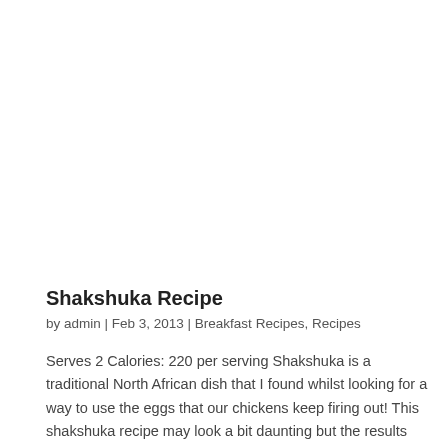Shakshuka Recipe
by admin | Feb 3, 2013 | Breakfast Recipes, Recipes
Serves 2 Calories: 220 per serving Shakshuka is a traditional North African dish that I found whilst looking for a way to use the eggs that our chickens keep firing out! This shakshuka recipe may look a bit daunting but the results are fantastic!